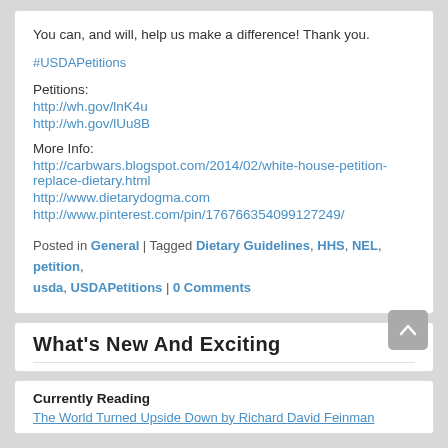You can, and will, help us make a difference! Thank you.
#USDAPetitions
Petitions:
http://wh.gov/lnK4u
http://wh.gov/lUu8B
More Info:
http://carbwars.blogspot.com/2014/02/white-house-petition-replace-dietary.html
http://www.dietarydogma.com
http://www.pinterest.com/pin/176766354099127249/
Posted in General | Tagged Dietary Guidelines, HHS, NEL, petition, usda, USDAPetitions | 0 Comments
What's New And Exciting
Currently Reading
The World Turned Upside Down by Richard David Feinman